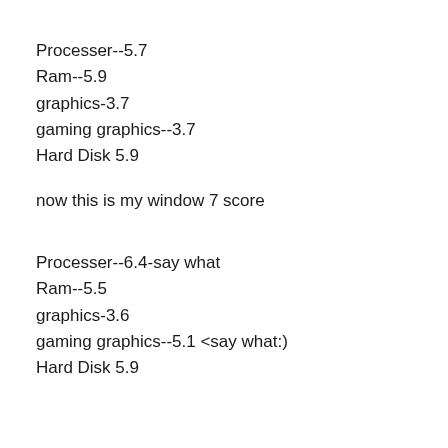Processer--5.7
Ram--5.9
graphics-3.7
gaming graphics--3.7
Hard Disk 5.9
now this is my window 7 score
Processer--6.4-say what
Ram--5.5
graphics-3.6
gaming graphics--5.1 <say what:)
Hard Disk 5.9